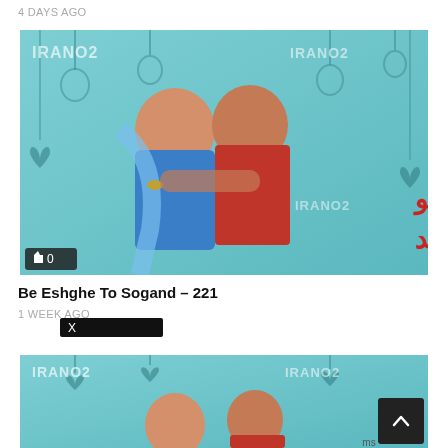4 DAYS AGO
[Figure (photo): Promotional image for 'Be Eshghe To Sogand' showing a couple — woman in blue dress and man in red shirt hugging, with Persian text reading 'به عشق تو سوگند' on the right side. Watermark 'IRANO2' visible. Like count badge showing 0 in bottom left.]
Be Eshghe To Sogand – 221
1 WEEK AGO
[Figure (photo): Partial view of a second promotional image for 'Be Eshghe To Sogand', same couple visible from the waist up, with a scroll-to-top button overlay in the bottom right corner.]